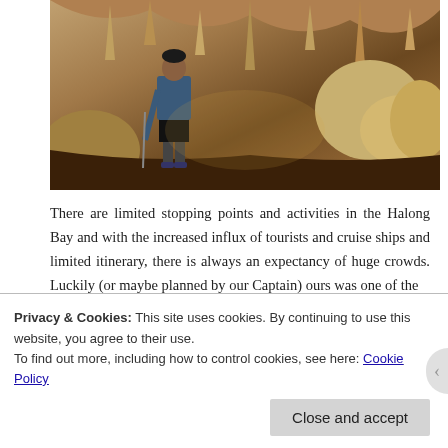[Figure (photo): A person standing inside a limestone cave with stalactites and rock formations, possibly Halong Bay area cave. The cave interior shows yellowish-brown rock formations and the person is wearing a blue jacket and black shorts.]
There are limited stopping points and activities in the Halong Bay and with the increased influx of tourists and cruise ships and limited itinerary, there is always an expectancy of huge crowds. Luckily (or maybe planned by our Captain) ours was one of the
Privacy & Cookies: This site uses cookies. By continuing to use this website, you agree to their use.
To find out more, including how to control cookies, see here: Cookie Policy
Close and accept